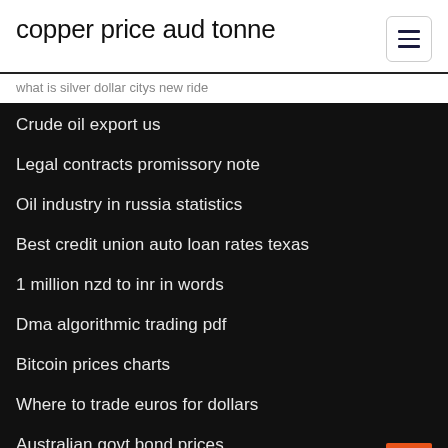copper price aud tonne
what is silver dollar citys new ride
Crude oil export us
Legal contracts promissory note
Oil industry in russia statistics
Best credit union auto loan rates texas
1 million nzd to inr in words
Dma algorithmic trading pdf
Bitcoin prices charts
Where to trade euros for dollars
Australian govt bond prices
Credit report scores chart